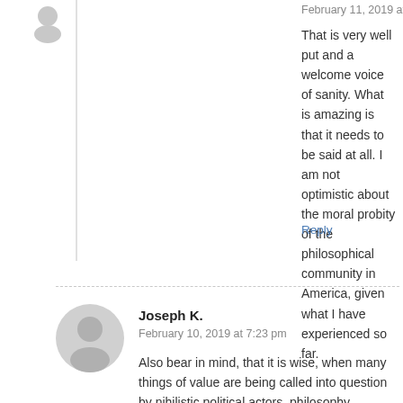February 11, 2019 at 3:34 pm
That is very well put and a welcome voice of sanity. What is amazing is that it needs to be said at all. I am not optimistic about the moral probity of the philosophical community in America, given what I have experienced so far.
Reply
Joseph K.
February 10, 2019 at 7:23 pm
Also bear in mind, that it is wise, when many things of value are being called into question by nihilistic political actors, philosophy departments among them, to have as many moral legs to stand on as possible. You don't want to get in the habit of thinking in terms of–and representing by your deeds–the same amorality